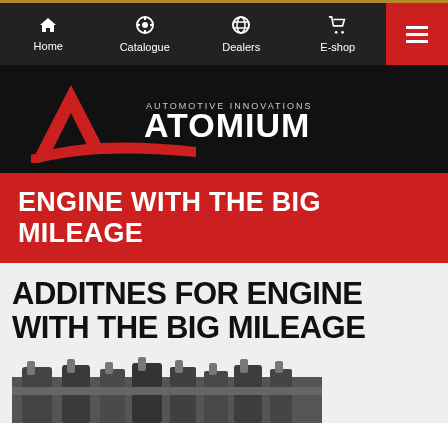Home | Catalogue | Dealers | E-shop
[Figure (logo): Atomium Automotive Innovations logo — red stylized 'A' letterform with red swoosh, white text ATOMIUM on black background]
ENGINE WITH THE BIG MILEAGE
ADDITNES FOR ENGINE WITH THE BIG MILEAGE
[Figure (photo): Engine components / mechanical parts photograph at bottom of page]